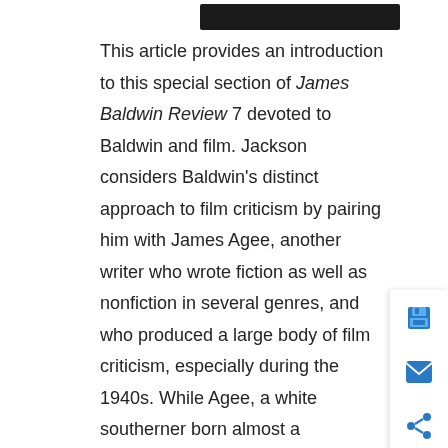Robert Jackson
This article provides an introduction to this special section of James Baldwin Review 7 devoted to Baldwin and film. Jackson considers Baldwin's distinct approach to film criticism by pairing him with James Agee, another writer who wrote fiction as well as nonfiction in several genres, and who produced a large body of film criticism, especially during the 1940s. While Agee, a white southerner born almost a generation before Baldwin, might seem an unlikely figure to place alongside Baldwin, the two shared a great deal in terms of